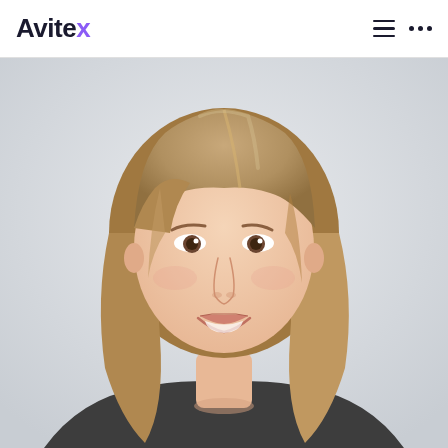Avitex
[Figure (photo): Portrait photo of a young woman with medium-length blonde hair, smiling, wearing a dark grey top, against a light grey background.]